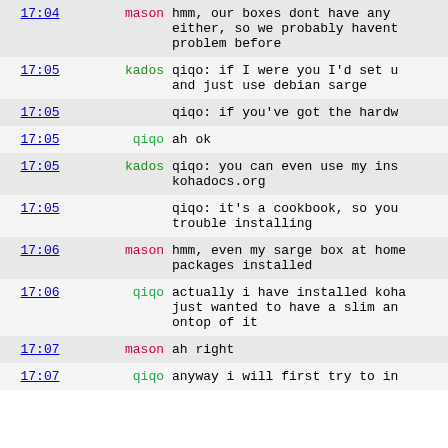| time | nick | message |
| --- | --- | --- |
| 17:04 | mason | hmm,  our boxes dont have any either, so we probably havent problem before |
| 17:05 | kados | qiqo: if I were you I'd set up and just use debian sarge |
| 17:05 |  | qiqo: if you've got the hardw |
| 17:05 | qiqo | ah ok |
| 17:05 | kados | qiqo: you can even use my ins kohadocs.org |
| 17:05 |  | qiqo: it's a cookbook, so you trouble installing |
| 17:06 | mason | hmm, even my sarge box at home packages installed |
| 17:06 | qiqo | actually i have installed koha just wanted to have a slim an ontop of it |
| 17:07 | mason | ah right |
| 17:07 | qiqo | anyway i will first try to in |